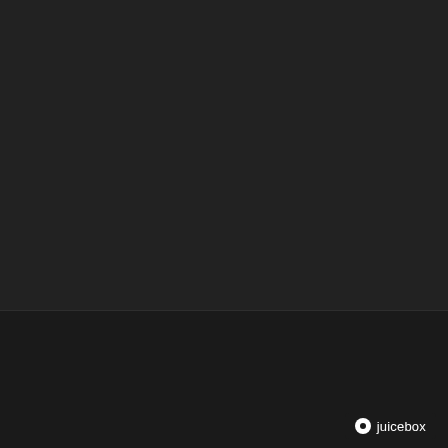[Figure (photo): Large dark photographic image area, nearly black, occupying the upper portion of the page]
5 Images
VIEW GALLERY
juicebox